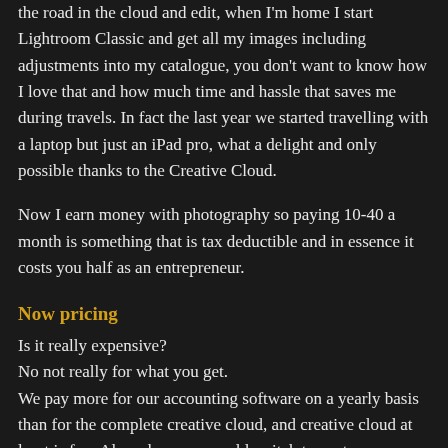the road in the cloud and edit, when I'm home I start Lightroom Classic and get all my images including adjustments into my catalogue, you don't want to know how I love that and how much time and hassle that saves me during travels. In fact the last year we started travelling with a laptop but just an iPad pro, what a delight and only possible thanks to the Creative Cloud.
Now I earn money with photography so paying 10-40 a month is something that is tax deductible and in essence it costs you half as an entrepreneur.
Now pricing
Is it really expensive?
No not really for what you get.
We pay more for our accounting software on a yearly basis than for the complete creative cloud, and creative cloud at least is fun. Also when you would switch to capture one (what a lot of people seem to think about), let me start by saying Capture One is awesome, previews are amazingly fast, we have focus overlay and tethering is stable and fast and supports a lot of cameras, but…. (and I always say everything before but is BS) you also pay a subscription if you want to stay up to date or you pay a